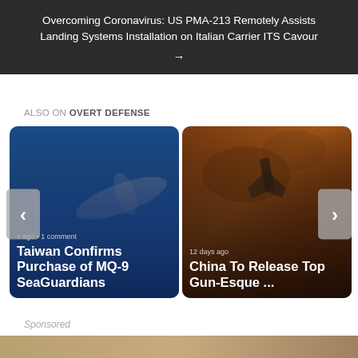Overcoming Coronavirus: US PMA-213 Remotely Assists Landing Systems Installation on Italian Carrier ITS Cavour →
ALSO ON OVERT DEFENSE
[Figure (photo): Card showing a military aircraft on blue sky background with text: 's ago • 1 comment' and title 'Taiwan Confirms Purchase of MQ-9 SeaGuardians']
[Figure (photo): Card showing a military jet (F-35 style) against fiery/smoky background with text: '12 days ago' and title 'China To Release Top Gun-Esque ...']
Sponsored